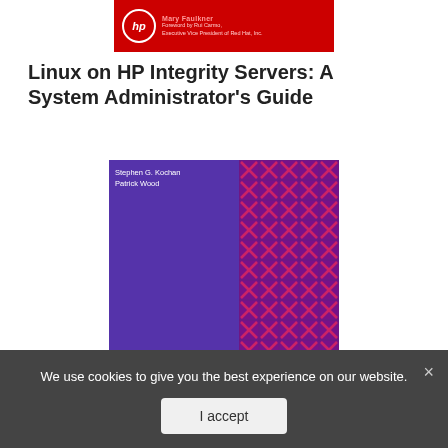[Figure (illustration): Top portion of a book cover for 'Linux on HP Integrity Servers: A System Administrator's Guide' — red background with HP logo circle and text on right side]
Linux on HP Integrity Servers: A System Administrator's Guide
[Figure (illustration): Book cover for 'Unix Shell Programming' Third Edition by Stephen G. Kochan and Patrick Wood — left half is purple with white italic 'Unix' title and 'Shell Programming' subtitle rotated vertically, right half has a purple/red geometric pattern]
We use cookies to give you the best experience on our website.
I accept